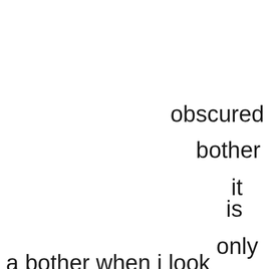obscured
bother
it
is
only
a bother when i look